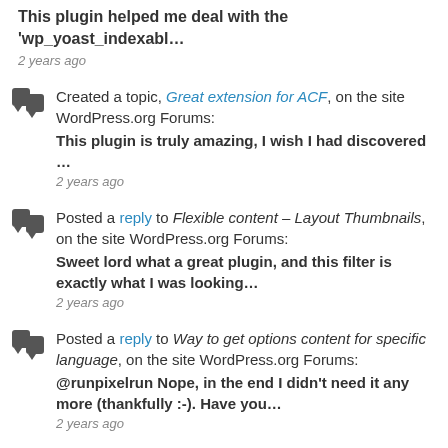This plugin helped me deal with the 'wp_yoast_indexabl... — 2 years ago
Created a topic, Great extension for ACF, on the site WordPress.org Forums: This plugin is truly amazing, I wish I had discovered ... — 2 years ago
Posted a reply to Flexible content – Layout Thumbnails, on the site WordPress.org Forums: Sweet lord what a great plugin, and this filter is exactly what I was looking… — 2 years ago
Posted a reply to Way to get options content for specific language, on the site WordPress.org Forums: @runpixelrun Nope, in the end I didn't need it any more (thankfully :-). Have you… — 2 years ago
Posted a reply to Way to get options content for specific language, on the site WordPress.org Forums: I think I can loop over all the languages() and construct